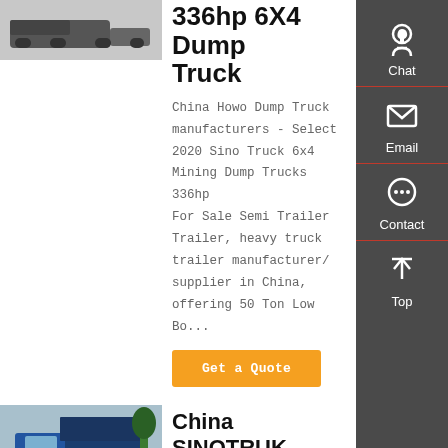[Figure (photo): Dark heavy dump truck (HOWO) viewed from front-left angle on a paved surface]
336hp 6X4 Dump Truck
China Howo Dump Truck manufacturers - Select 2020 Sino Truck 6x4 Mining Dump Trucks 336hp For Sale Semi Trailer Trailer, heavy truck trailer manufacturer/ supplier in China, offering 50 Ton Low Bo...
Get a Quote
[Figure (photo): Blue SINOTRUK HOWO 6x4 dump truck cab viewed from front-side angle]
China SINOTRUK HOWO 6X4 DUMP